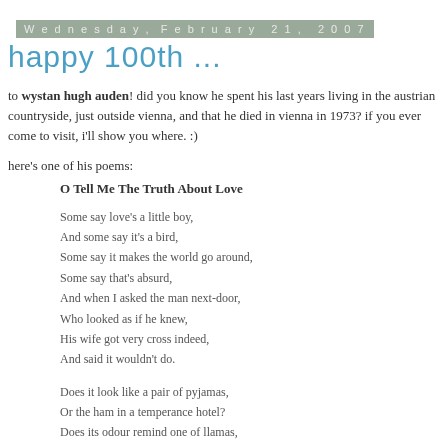Wednesday, February 21, 2007
happy 100th ...
to wystan hugh auden! did you know he spent his last years living in the austrian countryside, just outside vienna, and that he died in vienna in 1973? if you ever come to visit, i'll show you where. :)
here's one of his poems:
O Tell Me The Truth About Love
Some say love's a little boy,
And some say it's a bird,
Some say it makes the world go around,
Some say that's absurd,
And when I asked the man next-door,
Who looked as if he knew,
His wife got very cross indeed,
And said it wouldn't do.
Does it look like a pair of pyjamas,
Or the ham in a temperance hotel?
Does its odour remind one of llamas,
Or has it a comforting smell?